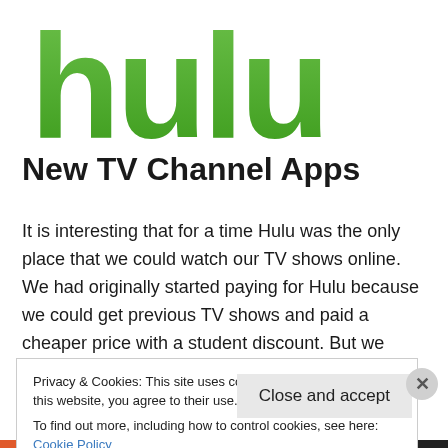[Figure (logo): Hulu logo — large green lowercase letters 'hulu' with rounded shapes on white background]
New TV Channel Apps
It is interesting that for a time Hulu was the only place that we could watch our TV shows online. We had originally started paying for Hulu because we could get previous TV shows and paid a cheaper price with a student discount. But we recently dropped Hulu.  I remember talking about how I wish   Continue reading →
Privacy & Cookies: This site uses cookies. By continuing to use this website, you agree to their use.
To find out more, including how to control cookies, see here: Cookie Policy
Close and accept